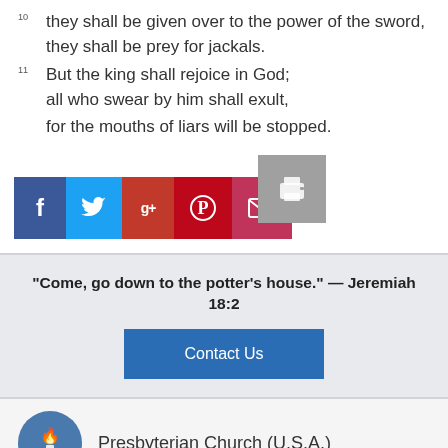10 they shall be given over to the power of the sword, they shall be prey for jackals.
11 But the king shall rejoice in God; all who swear by him shall exult, for the mouths of liars will be stopped.
[Figure (screenshot): Social media share buttons: Facebook (dark blue), Twitter (light blue), Google+ (dark red), Pinterest (red), Email (pink/red), and a gray print button overlapping from above.]
“Come, go down to the potter’s house.” — Jeremiah 18:2
Contact Us
[Figure (logo): Presbyterian Church (U.S.A.) circular logo in blue with a flame/cross and book symbol]
Presbyterian Church (U.S.A.)